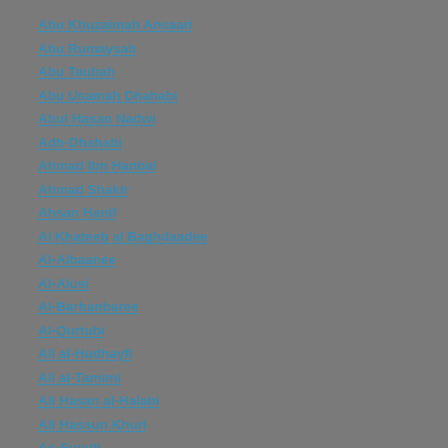Abu Khuzaimah Ansaari
Abu Rumaysah
Abu Taubah
Abu Usamah Dhahabi
Abul Hasan Nadwi
Adh-Dhahabi
Ahmad Ibn Hanbal
Ahmad Shakir
Ahsan Hanif
Al Khateeb al Baghdaadee
Al-Albaanee
Al-Alusi
Al-Barhanbaree
Al-Qurtubi
Ali al-Hudhayfi
Ali al-Tamimi
Ali Hasan al-Halabi
Ali Hassun Khuri
As-Suyuti